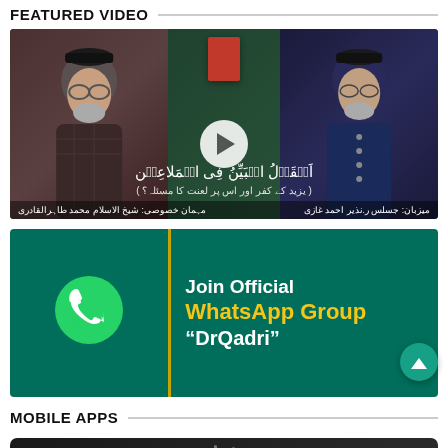FEATURED VIDEO
[Figure (screenshot): Featured video thumbnail showing two men in Islamic scholarly attire on a dark green background with Arabic calligraphic text in center and a play button overlay. Urdu text labels visible at top and bottom.]
[Figure (screenshot): WhatsApp group promotion banner with teal/dark green background. Left side: WhatsApp logo icon. Right side: text reading 'Join Official WhatsApp Group DrQadri' with a yellow vertical divider line.]
MOBILE APPS
[Figure (screenshot): Mobile app thumbnail with dark background, partially visible at bottom of page.]